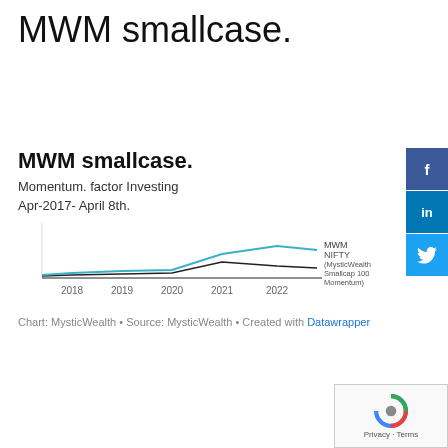MWM smallcase.
MWM smallcase.
Momentum. factor Investing
Apr-2017- April 8th.
[Figure (line-chart): MWM smallcase.]
Chart: MysticWealth • Source: MysticWealth • Created with Datawrapper